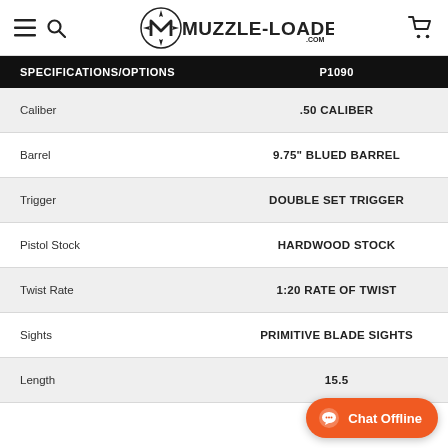[Figure (logo): Muzzle-Loaders.com website header with hamburger menu, search icon, compass M logo, MUZZLE-LOADERS.COM text, and cart icon]
| SPECIFICATIONS/OPTIONS | P1090 |
| --- | --- |
| Caliber | .50 CALIBER |
| Barrel | 9.75" BLUED BARREL |
| Trigger | DOUBLE SET TRIGGER |
| Pistol Stock | HARDWOOD STOCK |
| Twist Rate | 1:20 RATE OF TWIST |
| Sights | PRIMITIVE BLADE SIGHTS |
| Length | 15.5 |